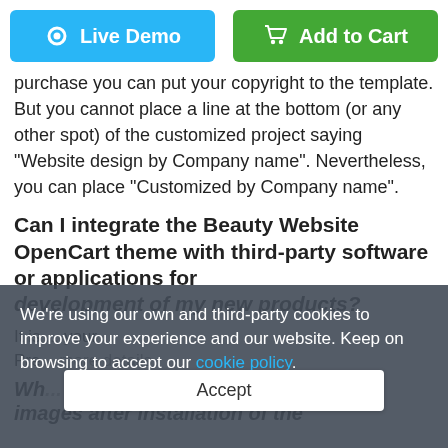[Figure (screenshot): Two buttons: 'Live Demo' (blue) and 'Add to Cart' (green)]
purchase you can put your copyright to the template. But you cannot place a line at the bottom (or any other spot) of the customized project saying "Website design by Company name". Nevertheless, you can place "Customized by Company name".
Can I integrate the Beauty Website OpenCart theme with third-party software or applications for development of my new products?
It is ... your Pre... more details.
Wh... images after installation of the
We're using our own and third-party cookies to improve your experience and our website. Keep on browsing to accept our cookie policy.
Accept